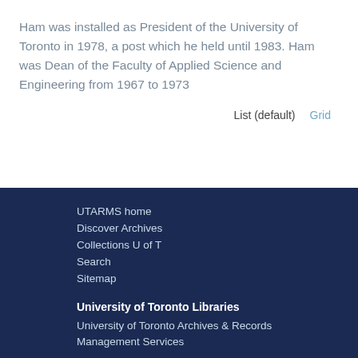Ham was installed as President of the University of Toronto in 1978, a post which he held until 1983. Ham was Dean of the Faculty of Applied Science and Engineering from 1967 to 1973
List (default)   Grid
UTARMS home
Discover Archives
Collections U of T
Search
Sitemap
University of Toronto Libraries
University of Toronto Archives & Records Management Services